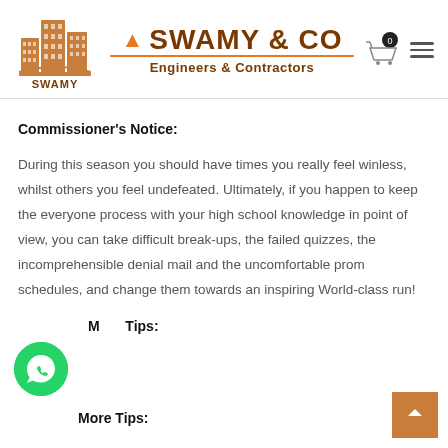SWAMY & CO — Engineers & Contractors
Commissioner's Notice:
During this season you should have times you really feel winless, whilst others you feel undefeated. Ultimately, if you happen to keep the everyone process with your high school knowledge in point of view, you can take difficult break-ups, the failed quizzes, the incomprehensible denial mail and the uncomfortable prom schedules, and change them towards an inspiring World-class run!
More Tips: